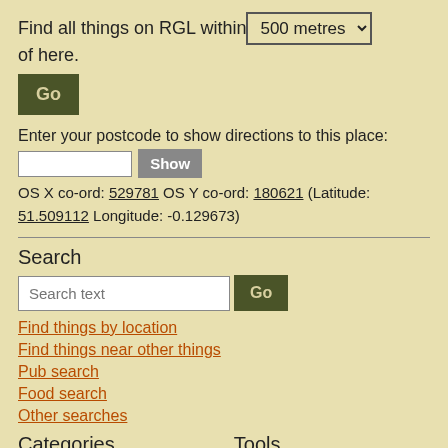Find all things on RGL within 500 metres of here.
Go
Enter your postcode to show directions to this place:
OS X co-ord: 529781 OS Y co-ord: 180621 (Latitude: 51.509112 Longitude: -0.129673)
Search
Search text
Go
Find things by location
Find things near other things
Pub search
Food search
Other searches
Categories
Tools
Pubs (map)
Recent changes